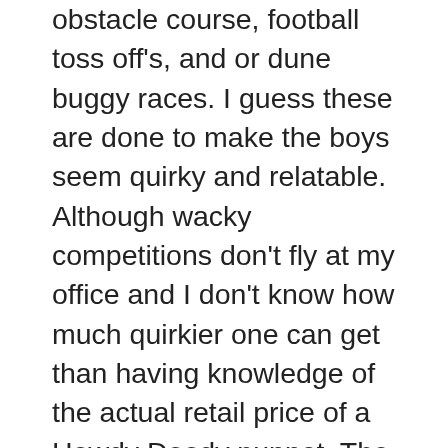obstacle course, football toss off's, and or dune buggy races. I guess these are done to make the boys seem quirky and relatable. Although wacky competitions don't fly at my office and I don't know how much quirkier one can get than having knowledge of the actual retail price of a Howdy Doody puppet. The crew is not Ryan Stiles but I still find the show enjoyable. Haggling is a great dramatic device. The cast works because they are not polished on camera. After watching a few episodes you yourself begin to feel like an expert. You mutter to yourself how you wouldn't go more than 75 grand for that sunken Indian treasure, or how the